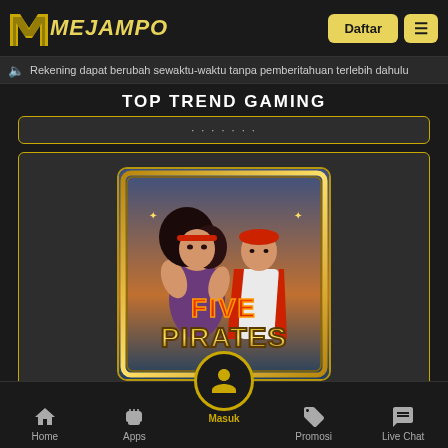[Figure (logo): MejaMpo logo with stylized M icon and yellow text on dark background]
Daftar
≡
Rekening dapat berubah sewaktu-waktu tanpa pemberitahuan terlebih dahulu
TOP TREND GAMING
[Figure (screenshot): Partially visible game card above]
[Figure (illustration): Five Pirates H5 slot game image showing two pirate characters with the text FIVE PIRATES on a golden bordered card]
Five Pirates H5
Home | Apps | Masuk | Promosi | Live Chat